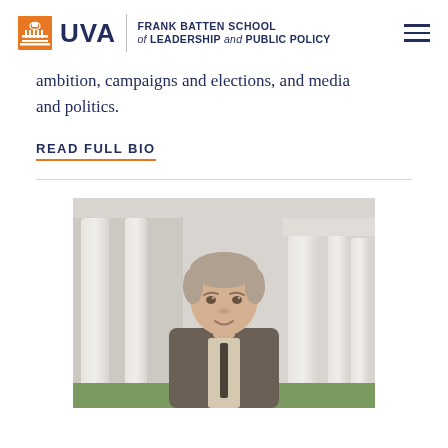UVA Frank Batten School of Leadership and Public Policy
ambition, campaigns and elections, and media and politics.
READ FULL BIO
[Figure (photo): Portrait photograph of a man with light brown/grey hair wearing a suit, standing in front of white columns of a classical building.]